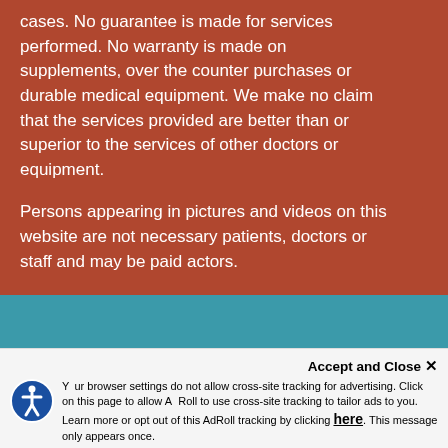cases. No guarantee is made for services performed. No warranty is made on supplements, over the counter purchases or durable medical equipment. We make no claim that the services provided are better than or superior to the services of other doctors or equipment.

Persons appearing in pictures and videos on this website are not necessary patients, doctors or staff and may be paid actors.
MAPS & DIRECTIONS
Accept and Close ✕
Your browser settings do not allow cross-site tracking for advertising. Click on this page to allow AdRoll to use cross-site tracking to tailor ads to you. Learn more or opt out of this AdRoll tracking by clicking here. This message only appears once.